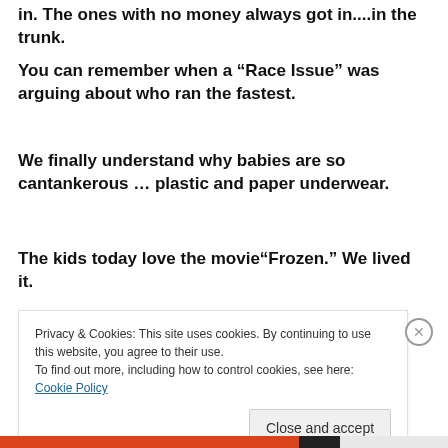in. The ones with no money always got in....in the trunk.
You can remember when a “Race Issue” was arguing about who ran the fastest.
We finally understand why babies are so cantankerous … plastic and paper underwear.
The kids today love the movie“Frozen.” We lived it.
Privacy & Cookies: This site uses cookies. By continuing to use this website, you agree to their use.
To find out more, including how to control cookies, see here: Cookie Policy